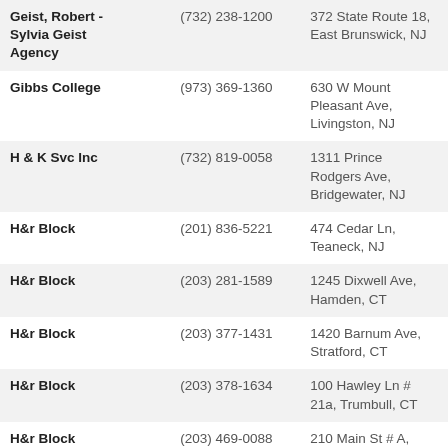| Geist, Robert - Sylvia Geist Agency | (732) 238-1200 | 372 State Route 18, East Brunswick, NJ |
| Gibbs College | (973) 369-1360 | 630 W Mount Pleasant Ave, Livingston, NJ |
| H & K Svc Inc | (732) 819-0058 | 1311 Prince Rodgers Ave, Bridgewater, NJ |
| H&r Block | (201) 836-5221 | 474 Cedar Ln, Teaneck, NJ |
| H&r Block | (203) 281-1589 | 1245 Dixwell Ave, Hamden, CT |
| H&r Block | (203) 377-1431 | 1420 Barnum Ave, Stratford, CT |
| H&r Block | (203) 378-1634 | 100 Hawley Ln # 21a, Trumbull, CT |
| H&r Block | (203) 469-0088 | 210 Main St # A, East Haven, CT |
| H&r Block | (203) 799-2966 | 116 Boston Post Rd, Orange, CT |